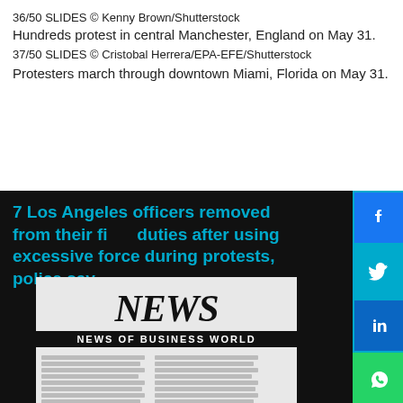36/50 SLIDES © Kenny Brown/Shutterstock
Hundreds protest in central Manchester, England on May 31.
37/50 SLIDES © Cristobal Herrera/EPA-EFE/Shutterstock
Protesters march through downtown Miami, Florida on May 31.
7 Los Angeles officers removed from their field duties after using excessive force during protests, police say
[Figure (photo): Close-up photo of a newspaper with headline NEWS and subheading NEWS OF BUSINESS WORLD, showing columns of text below]